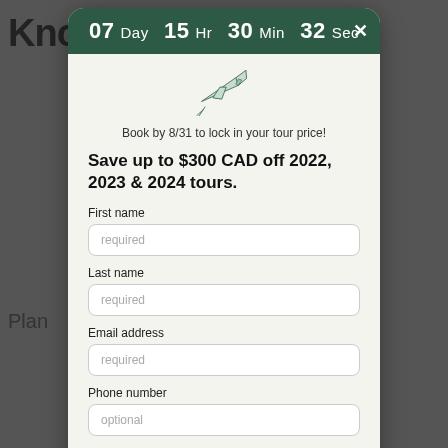[Figure (screenshot): Modal popup overlay on a dark website background showing a countdown timer, airplane illustration, promotional text, and a lead capture form.]
07 Day  15 Hr  30 Min  32 Sec
[Figure (illustration): Small line-art illustration of an airplane flying, positioned above the promotional text.]
Book by 8/31 to lock in your tour price!
Save up to $300 CAD off 2022, 2023 & 2024 tours.
First name
required
Last name
required
Email address
required
Phone number
optional
Submit